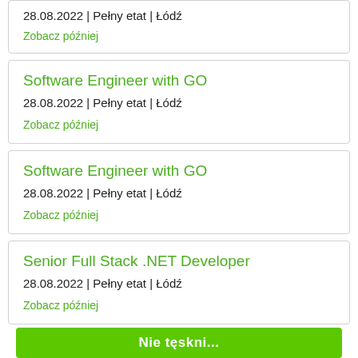28.08.2022 | Pełny etat | Łódź
Zobacz później
Software Engineer with GO
28.08.2022 | Pełny etat | Łódź
Zobacz później
Software Engineer with GO
28.08.2022 | Pełny etat | Łódź
Zobacz później
Senior Full Stack .NET Developer
28.08.2022 | Pełny etat | Łódź
Zobacz później